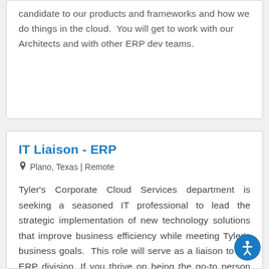candidate to our products and frameworks and how we do things in the cloud.  You will get to work with our Architects and with other ERP dev teams.
IT Liaison - ERP
Plano, Texas | Remote
Tyler's Corporate Cloud Services department is seeking a seasoned IT professional to lead the strategic implementation of new technology solutions that improve business efficiency while meeting Tyler's business goals.  This role will serve as a liaison to the ERP division. If you thrive on being the go-to person and can bring together disparate groups toward a common goal, this is a great role for you!